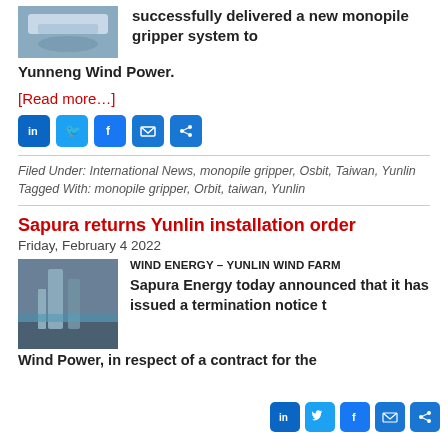successfully delivered a new monopile gripper system to Yunneng Wind Power.
[Read more…]
[Figure (infographic): Social sharing icons: LinkedIn, Twitter, Facebook, Email, Share]
Filed Under: International News, monopile gripper, Osbit, Taiwan, Yunlin Tagged With: monopile gripper, Orbit, taiwan, Yunlin
Sapura returns Yunlin installation order
Friday, February 4 2022
[Figure (photo): Photo of offshore wind installation structure]
WIND ENERGY – YUNLIN WIND FARM
Sapura Energy today announced that it has issued a termination notice to Yunneng Wind Power, in respect of a contract for the